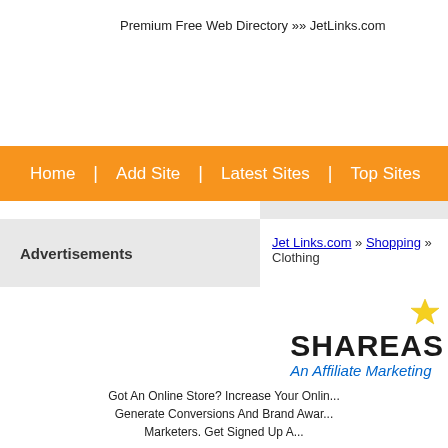Premium Free Web Directory »» JetLinks.com
Home | Add Site | Latest Sites | Top Sites
Advertisements
Jet Links.com » Shopping » Clothing
[Figure (logo): ShareASale logo with star icon and tagline 'An Affiliate Marketing']
Got An Online Store? Increase Your Onlin... Generate Conversions And Brand Awar... Marketers. Get Signed Up A...
E-Commerce Is Booming. All Affiliate M...
We provide ...